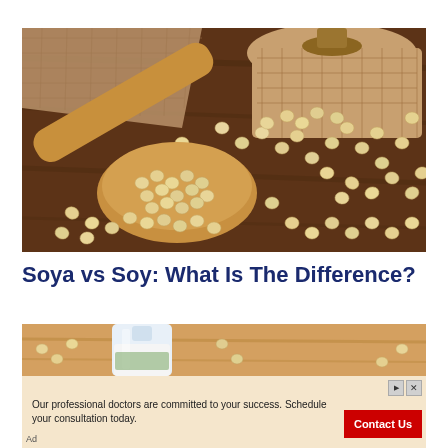[Figure (photo): Photo of soybeans spilling from a burlap sack with a wooden scoop full of soybeans on a dark wooden surface with burlap cloth]
Soya vs Soy: What Is The Difference?
[Figure (photo): Photo of a glass bottle of soy milk on a wooden table surface]
[Figure (other): Advertisement banner: Our professional doctors are committed to your success. Schedule your consultation today. Contact Us button.]